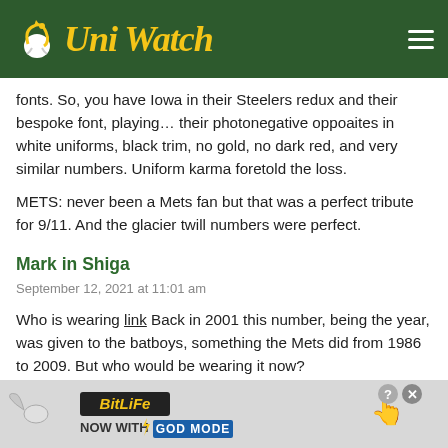UniWatch
fonts. So, you have Iowa in their Steelers redux and their bespoke font, playing... their photonegative oppoaites in white uniforms, black trim, no gold, no dark red, and very similar numbers. Uniform karma foretold the loss.
METS: never been a Mets fan but that was a perfect tribute for 9/11. And the glacier twill numbers were perfect.
Mark in Shiga
September 12, 2021 at 11:01 am
Who is wearing link Back in 2001 this number, being the year, was given to the batboys, something the Mets did from 1986 to 2009. But who would be wearing it now?
Steve D
September 12, 2021 at 9:10 pm
If you freeze the video, number 01 has a NOB of BRENDAN. I wou... a grow... m 2001?
[Figure (screenshot): BitLife advertisement banner: 'NOW WITH GOD MODE' with sperm logo icon on left and pointing hand on right, question and close buttons top right]